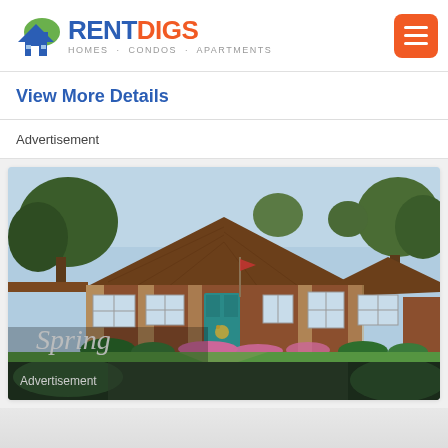RENTDIGS HOMES · CONDOS · APARTMENTS
View More Details
Advertisement
[Figure (photo): Exterior photo of a single-story brick ranch house with brown shingle roof, teal front door, flowering shrubs along the front, and green lawn. Text overlay reads 'Spring' in white italic font at bottom left.]
Advertisement